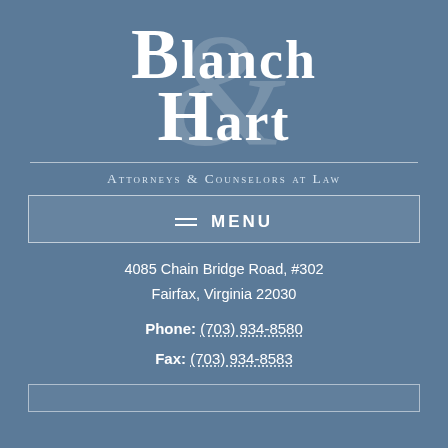[Figure (logo): Blanch & Hart law firm logo with large serif text 'BLANCH' on top and 'HART' below, with a large decorative ampersand in the background]
Attorneys & Counselors at Law
MENU
4085 Chain Bridge Road, #302
Fairfax, Virginia 22030
Phone: (703) 934-8580
Fax: (703) 934-8583